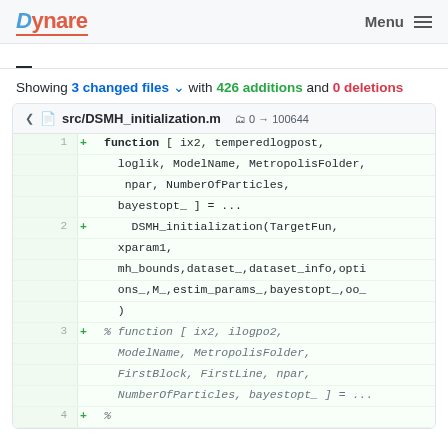Dynare   Menu
Showing 3 changed files with 426 additions and 0 deletions
src/DSMH_initialization.m  0 → 100644
1 + function [ ix2, temperedlogpost, loglik, ModelName, MetropolisFolder, npar, NumberOfParticles, bayestopt_ ] = ...
2 +     DSMH_initialization(TargetFun, xparam1, mh_bounds,dataset_,dataset_info,options_,M_,estim_params_,bayestopt_,oo_)
3 + % function [ ix2, ilogpo2, ModelName, MetropolisFolder, FirstBlock, FirstLine, npar, NumberOfParticles, bayestopt_ ] = ...
4 + %